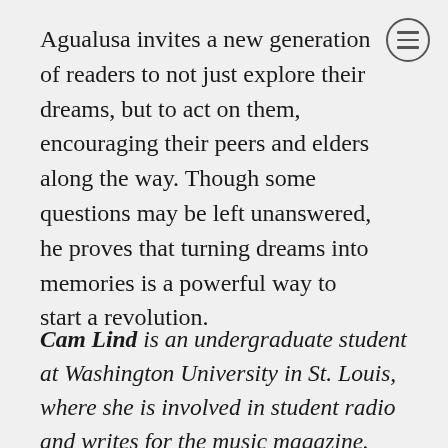Agualusa invites a new generation of readers to not just explore their dreams, but to act on them, encouraging their peers and elders along the way. Though some questions may be left unanswered, he proves that turning dreams into memories is a powerful way to start a revolution.
Cam Lind is an undergraduate student at Washington University in St. Louis, where she is involved in student radio and writes for the music magazine. You can find some of her fiction and nonfiction work on her website